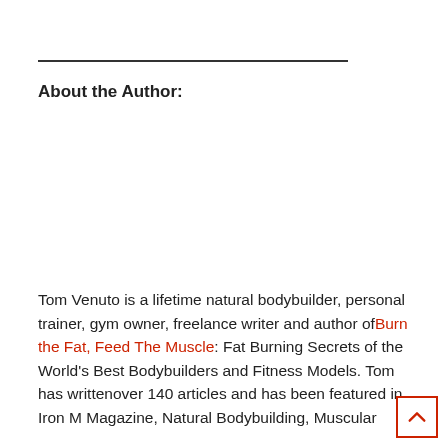About the Author:
Tom Venuto is a lifetime natural bodybuilder, personal trainer, gym owner, freelance writer and author of Burn the Fat, Feed The Muscle: Fat Burning Secrets of the World's Best Bodybuilders and Fitness Models. Tom has writtenover 140 articles and has been featured in Iron M Magazine, Natural Bodybuilding, Muscular